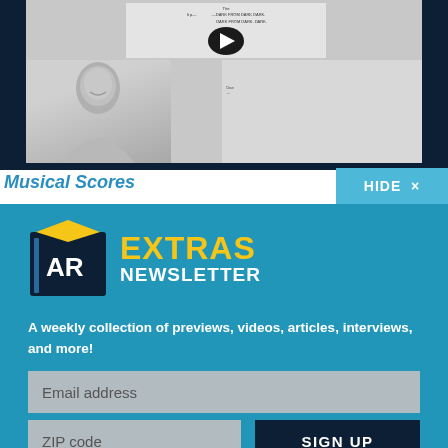[Figure (screenshot): Dark-themed video preview showing a musical scores page with a play button overlay and a black-and-white photo of a smiling man in the lower left]
Musical Scores
HIDE ×
[Figure (logo): AR Extras Newsletter logo: dark blue box with AR text in white, yellow open book on top, with 'EXTRAS' in yellow bold text and 'NEWSLETTER' in white bold text]
A weekly collection of previews, videos, articles, interviews, and more!
Email address
ZIP code
SIGN UP